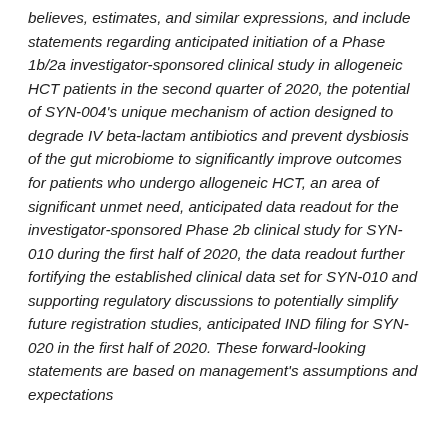believes,  estimates,  and similar expressions, and include statements regarding anticipated initiation of a Phase 1b/2a investigator-sponsored clinical study in allogeneic HCT patients in the second quarter of 2020, the potential of SYN-004's unique mechanism of action designed to degrade IV beta-lactam antibiotics and prevent dysbiosis of the gut microbiome to significantly improve outcomes for patients who undergo allogeneic HCT, an area of significant unmet need,  anticipated data readout for the investigator-sponsored  Phase 2b clinical study for SYN-010 during the first half of 2020, the data readout further fortifying the established clinical data set for SYN-010 and supporting regulatory discussions to potentially simplify future registration studies, anticipated IND filing for SYN-020 in the first half of 2020. These forward-looking statements are based on management's assumptions and expectations